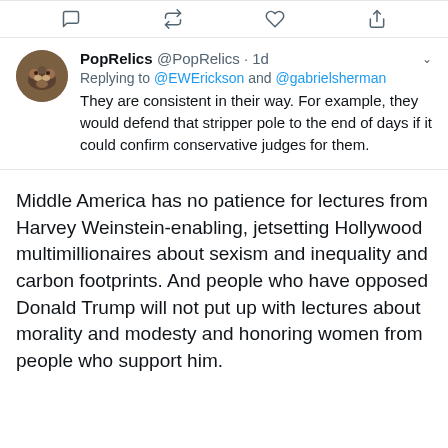[Figure (screenshot): Twitter/X action bar with reply, retweet, like, and share icons]
PopRelics @PopRelics · 1d
Replying to @EWErickson and @gabrielsherman
They are consistent in their way. For example, they would defend that stripper pole to the end of days if it could confirm conservative judges for them.
Middle America has no patience for lectures from Harvey Weinstein-enabling, jetsetting Hollywood multimillionaires about sexism and inequality and carbon footprints. And people who have opposed Donald Trump will not put up with lectures about morality and modesty and honoring women from people who support him.